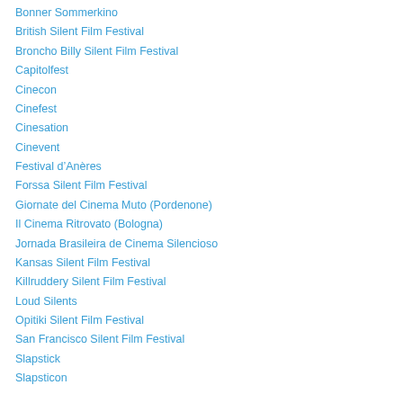Bonner Sommerkino
British Silent Film Festival
Broncho Billy Silent Film Festival
Capitolfest
Cinecon
Cinefest
Cinesation
Cinevent
Festival d’Anères
Forssa Silent Film Festival
Giornate del Cinema Muto (Pordenone)
Il Cinema Ritrovato (Bologna)
Jornada Brasileira de Cinema Silencioso
Kansas Silent Film Festival
Killruddery Silent Film Festival
Loud Silents
Opitiki Silent Film Festival
San Francisco Silent Film Festival
Slapstick
Slapsticon